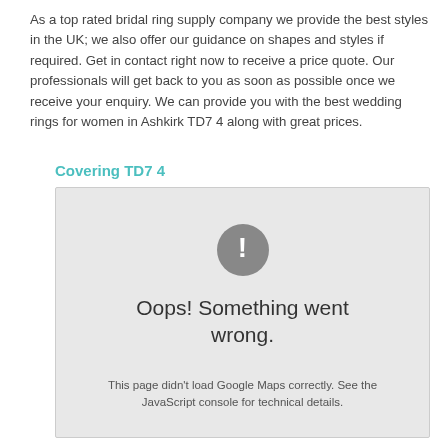As a top rated bridal ring supply company we provide the best styles in the UK; we also offer our guidance on shapes and styles if required. Get in contact right now to receive a price quote. Our professionals will get back to you as soon as possible once we receive your enquiry. We can provide you with the best wedding rings for women in Ashkirk TD7 4 along with great prices.
Covering TD7 4
[Figure (screenshot): Google Maps error panel showing a grey box with a dark circle containing an exclamation mark, text 'Oops! Something went wrong.' and 'This page didn't load Google Maps correctly. See the JavaScript console for technical details.']